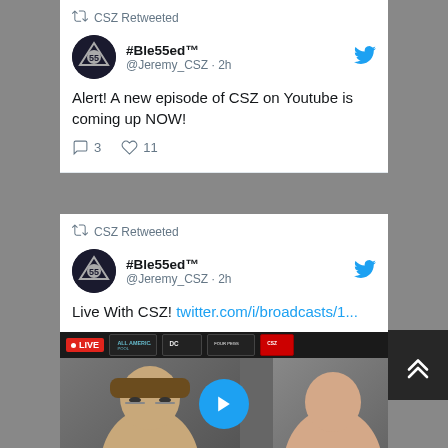CSZ Retweeted
#Ble55ed™ @Jeremy_CSZ · 2h
Alert! A new episode of CSZ on Youtube is coming up NOW!
3 replies, 11 likes
CSZ Retweeted
#Ble55ed™ @Jeremy_CSZ · 2h
Live With CSZ! twitter.com/i/broadcasts/1...
[Figure (screenshot): Live video thumbnail showing two men, with a LIVE broadcast banner and play button overlay]